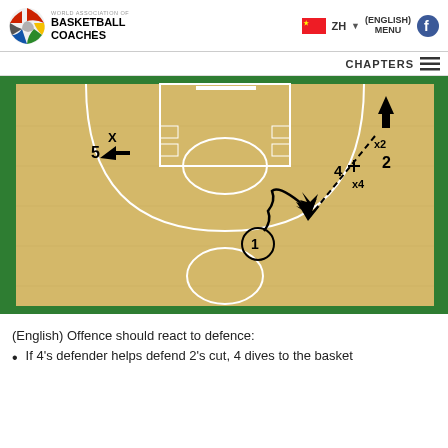WORLD ASSOCIATION OF BASKETBALL COACHES | ZH | (ENGLISH) MENU
[Figure (other): Basketball half-court diagram showing offensive play: Player 1 (circled) at mid-court dribbles upward with a zigzag line (dribble), player 5 positioned upper-left with defender X marker, player 2 upper-right with defender x2, player 4 upper-right with defender x4. Dashed arrow shows pass/cut from upper-right to mid-court area where player 1 receives.]
(English) Offence should react to defence:
If 4's defender helps defend 2's cut, 4 dives to the basket